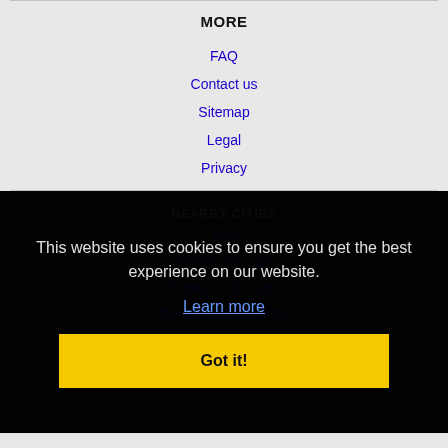MORE
FAQ
Contact us
Sitemap
Legal
Privacy
NEARBY CITIES
Jobs
Norman, OK Jobs
Edmond, OK Jobs
Weatherford, OK Jobs
This website uses cookies to ensure you get the best experience on our website.
Learn more
Got it!